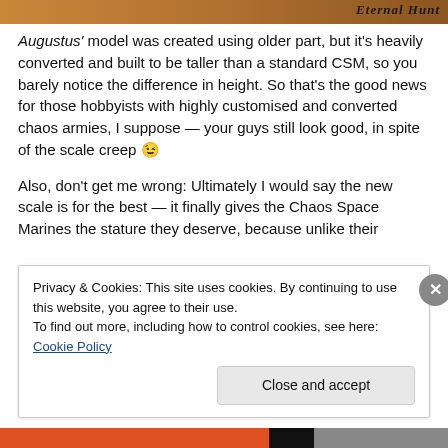[Figure (photo): Top decorative image strip with warm brown/orange tones and italic text reading 'Eternal Hunt' on the right side]
Augustus' model was created using older part, but it's heavily converted and built to be taller than a standard CSM, so you barely notice the difference in height. So that's the good news for those hobbyists with highly customised and converted chaos armies, I suppose — your guys still look good, in spite of the scale creep 😉
Also, don't get me wrong: Ultimately I would say the new scale is for the best — it finally gives the Chaos Space Marines the stature they deserve, because unlike their
Privacy & Cookies: This site uses cookies. By continuing to use this website, you agree to their use.
To find out more, including how to control cookies, see here: Cookie Policy
Close and accept
[Figure (photo): Bottom decorative image strip with orange, black, and gray bands]